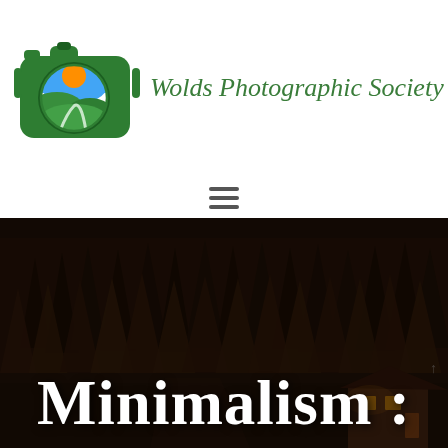[Figure (logo): Wolds Photographic Society logo: green camera icon with landscape lens (orange sun, blue sky, green hills), next to cursive green text 'Wolds Photographic Society']
[Figure (other): Hamburger menu icon (three horizontal lines)]
[Figure (photo): Dark forest photograph at dusk/night with dense dark evergreen trees, a small illuminated cabin or building visible in the lower right corner]
Minimalism :